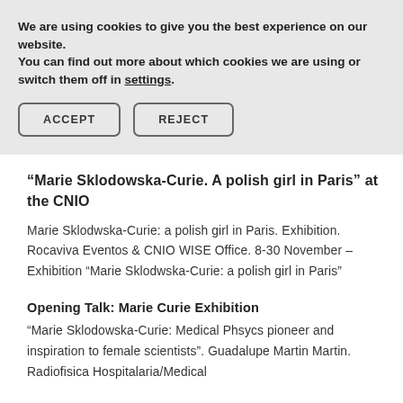We are using cookies to give you the best experience on our website.
You can find out more about which cookies we are using or switch them off in settings.
ACCEPT   REJECT
“Marie Sklodowska-Curie. A polish girl in Paris” at the CNIO
Marie Sklodwska-Curie: a polish girl in Paris. Exhibition. Rocaviva Eventos & CNIO WISE Office. 8-30 November – Exhibition “Marie Sklodwska-Curie: a polish girl in Paris”
Opening Talk: Marie Curie Exhibition
“Marie Sklodowska-Curie: Medical Phsycs pioneer and inspiration to female scientists”. Guadalupe Martin Martin. Radiofisica Hospitalaria/Medical